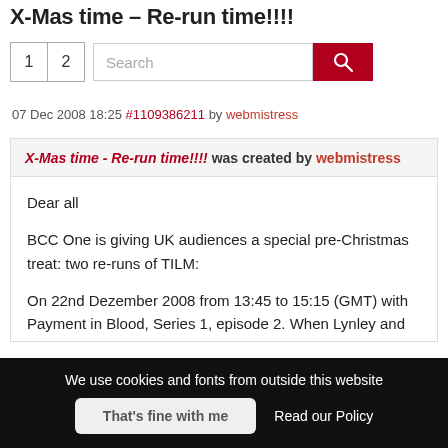X-Mas time – Re-run time!!!!
1  2  Search [search button]
07 Dec 2008 18:25 #1109386211 by webmistress
X-Mas time - Re-run time!!!! was created by webmistress
Dear all

BCC One is giving UK audiences a special pre-Christmas treat: two re-runs of TILM:

On 22nd Dezember 2008 from 13:45 to 15:15 (GMT) with Payment in Blood, Series 1, episode 2. When Lynley and
We use cookies and fonts from outside this website
That's fine with me  Read our Policy